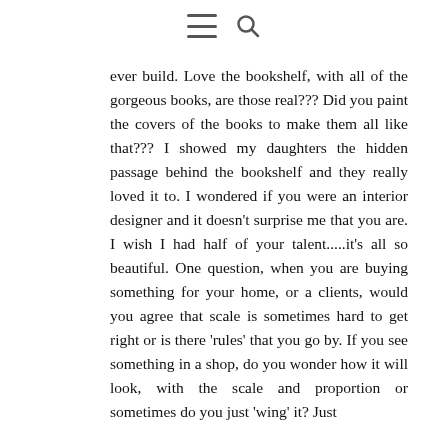[menu icon] [search icon]
ever build. Love the bookshelf, with all of the gorgeous books, are those real??? Did you paint the covers of the books to make them all like that??? I showed my daughters the hidden passage behind the bookshelf and they really loved it to. I wondered if you were an interior designer and it doesn't surprise me that you are. I wish I had half of your talent.....it's all so beautiful. One question, when you are buying something for your home, or a clients, would you agree that scale is sometimes hard to get right or is there 'rules' that you go by. If you see something in a shop, do you wonder how it will look, with the scale and proportion or sometimes do you just 'wing' it? Just